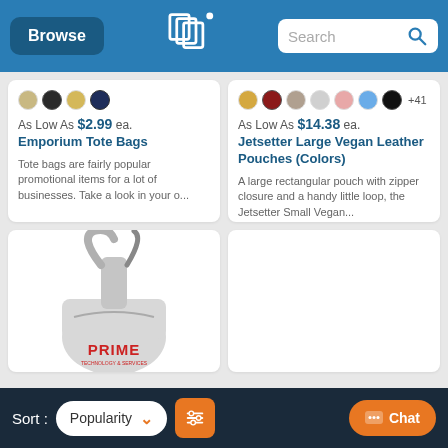Browse | Search
[Figure (screenshot): Product card: Emporium Tote Bags - color swatches (tan, black, gold, navy), As Low As $2.99 ea., description about tote bags]
[Figure (screenshot): Product card: Jetsetter Large Vegan Leather Pouches (Colors) - color swatches (gold, red, taupe, silver, pink, blue, black, +41), As Low As $14.38 ea.]
[Figure (photo): Gray sling bag / crossbody bag with PRIME logo in red text, shown against white background]
[Figure (screenshot): Empty product card (white)]
Sort: Popularity | Filter | Chat